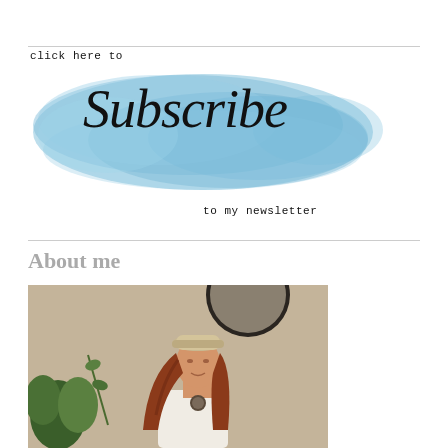[Figure (illustration): Newsletter subscription banner with watercolor blue background and script text reading 'click here to Subscribe to my newsletter']
About me
[Figure (photo): Photo of a woman with long red hair wearing a beige newsboy cap and white top with a round pendant necklace, with green plants in the foreground and a round mirror or dark circle in the background]